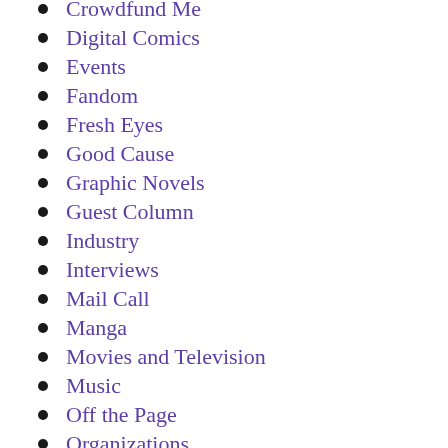Crowdfund Me
Digital Comics
Events
Fandom
Fresh Eyes
Good Cause
Graphic Novels
Guest Column
Industry
Interviews
Mail Call
Manga
Movies and Television
Music
Off the Page
Organizations
Politics